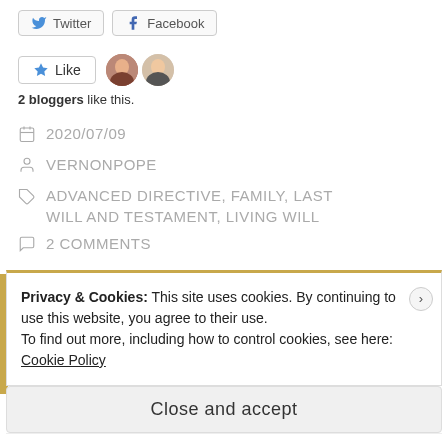[Figure (other): Twitter and Facebook share buttons at top]
[Figure (other): Like button with two blogger avatars]
2 bloggers like this.
2020/07/09
VERNONPOPE
ADVANCED DIRECTIVE, FAMILY, LAST WILL AND TESTAMENT, LIVING WILL
2 COMMENTS
Privacy & Cookies: This site uses cookies. By continuing to use this website, you agree to their use.
To find out more, including how to control cookies, see here:
Cookie Policy
Close and accept